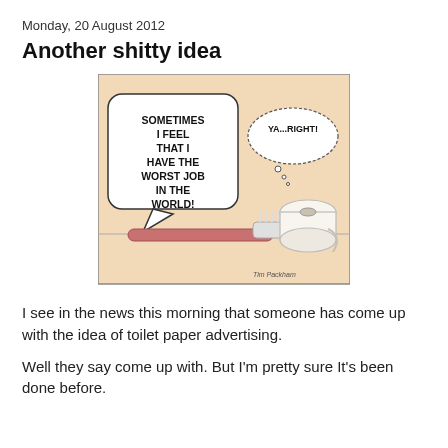Monday, 20 August 2012
Another shitty idea
[Figure (illustration): Comic strip by Tim Packham showing a toothbrush with a speech bubble saying 'SOMETIMES I FEEL THAT I HAVE THE WORST JOB IN THE WORLD!' and a toilet paper roll with a thought bubble saying 'YA...RIGHT!']
I see in the news this morning that someone has come up with the idea of toilet paper advertising.
Well they say come up with. But I'm pretty sure It's been done before.